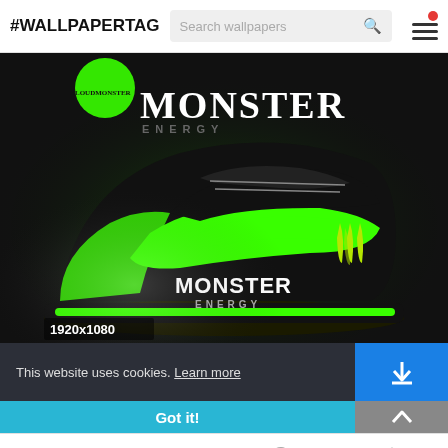#WALLPAPERTAG
[Figure (screenshot): Nike x Monster Energy custom sneaker wallpaper, black and neon green colorway with Monster Energy branding. Resolution label: 1920x1080]
This website uses cookies. Learn more
Got it!
Facebook, Twitter, Pinterest, plus share icons